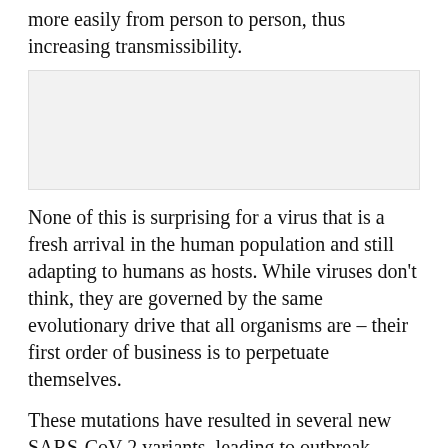more easily from person to person, thus increasing transmissibility.
[Figure (other): A light gray rectangular image placeholder block.]
None of this is surprising for a virus that is a fresh arrival in the human population and still adapting to humans as hosts. While viruses don't think, they are governed by the same evolutionary drive that all organisms are – their first order of business is to perpetuate themselves.
These mutations have resulted in several new SARS-CoV-2 variants, leading to outbreak clusters, and in some cases, global spread. They are broadly